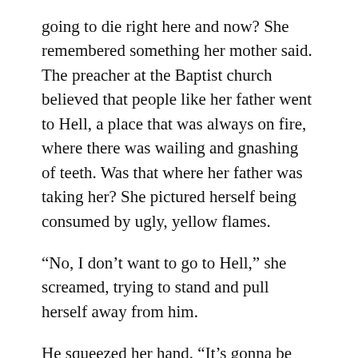going to die right here and now? She remembered something her mother said. The preacher at the Baptist church believed that people like her father went to Hell, a place that was always on fire, where there was wailing and gnashing of teeth. Was that where her father was taking her? She pictured herself being consumed by ugly, yellow flames.
“No, I don’t want to go to Hell,” she screamed, trying to stand and pull herself away from him.
He squeezed her hand. “It’s gonna be okay, honey. Daddy’s right here.”
He said those exact words the night her